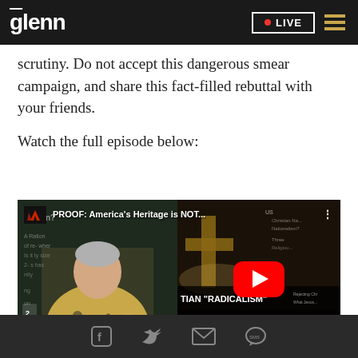glenn • LIVE
scrutiny. Do not accept this dangerous smear campaign, and share this fact-filled rebuttal with your friends.
Watch the full episode below:
[Figure (screenshot): YouTube video thumbnail showing Glenn Beck speaking in front of a chalkboard on the left, and on the right a cross image with text 'PROOF: America's Heritage is NOT... TIAN "RADICALISM" DEBUNKED' with YouTube play button overlay.]
Facebook, Twitter, Email, SMS share icons